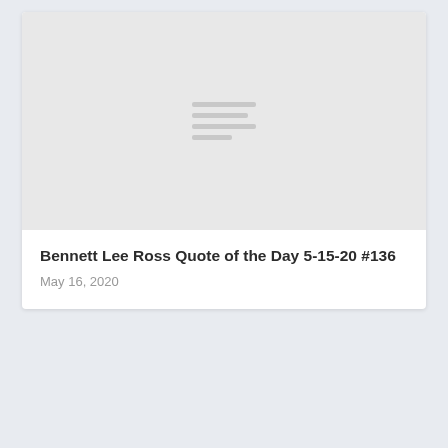[Figure (illustration): Light gray placeholder image with stacked horizontal lines icon in the center, representing a content thumbnail]
Bennett Lee Ross Quote of the Day 5-15-20 #136
May 16, 2020